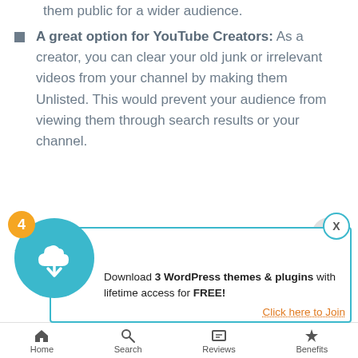them public for a wider audience.
A great option for YouTube Creators: As a creator, you can clear your old junk or irrelevant videos from your channel by making them Unlisted. This would prevent your audience from viewing them through search results or your channel.
[Figure (infographic): Download banner: teal circle with cloud download icon, orange badge showing '4', X close button, text reading 'Download 3 WordPress themes & plugins with lifetime access for FREE!' and 'Click here to Join' link]
Home  Search  Reviews  Benefits